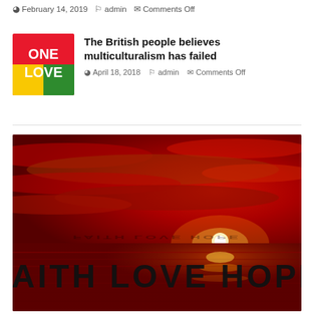February 14, 2019  admin  Comments Off
[Figure (illustration): ONE LOVE logo thumbnail — red and yellow background with bold white text reading ONE LOVE]
The British people believes multiculturalism has failed
April 18, 2018  admin  Comments Off
[Figure (photo): Dramatic red sunset over water with text FAITH LOVE HOPE in large dark letters across the lower portion of the image]